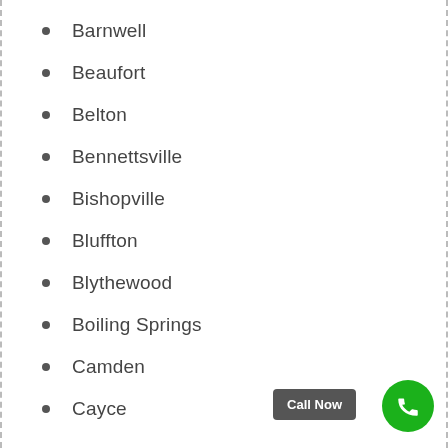Barnwell
Beaufort
Belton
Bennettsville
Bishopville
Bluffton
Blythewood
Boiling Springs
Camden
Cayce